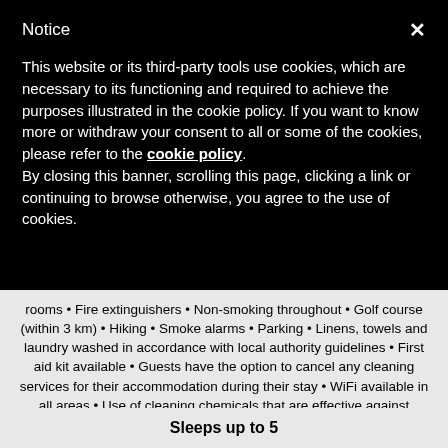Notice
This website or its third-party tools use cookies, which are necessary to its functioning and required to achieve the purposes illustrated in the cookie policy. If you want to know more or withdraw your consent to all or some of the cookies, please refer to the cookie policy.
By closing this banner, scrolling this page, clicking a link or continuing to browse otherwise, you agree to the use of cookies.
rooms • Fire extinguishers • Non-smoking throughout • Golf course (within 3 km) • Hiking • Smoke alarms • Parking • Linens, towels and laundry washed in accordance with local authority guidelines • First aid kit available • Guests have the option to cancel any cleaning services for their accommodation during their stay • WiFi available in all areas • Use of cleaning chemicals that are effective against Coronavirus • Staff follow all safety protocols as directed by local authorities • Private parking
Sleeps up to 5